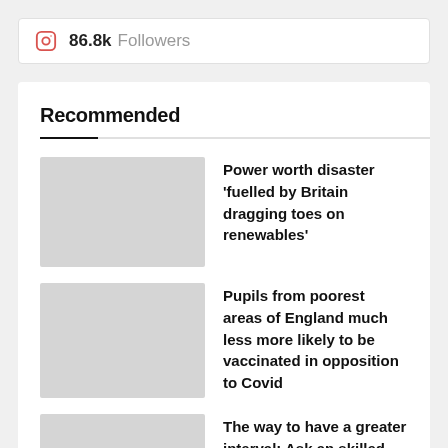86.8k Followers
Recommended
Power worth disaster ‘fuelled by Britain dragging toes on renewables’
Pupils from poorest areas of England much less more likely to be vaccinated in opposition to Covid
The way to have a greater interval: Ask an skilled something
What time do supermarkets shut on Christmas